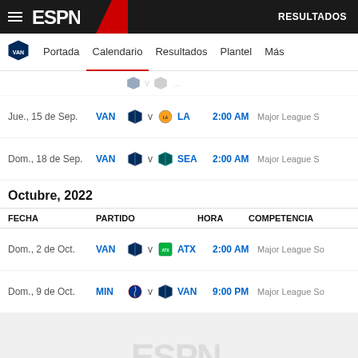ESPN — RESULTADOS
Portada  Calendario  Resultados  Plantel  Más
| FECHA | PARTIDO | HORA | COMPETENCIA |
| --- | --- | --- | --- |
| Jue., 15 de Sep. | VAN v LA | 2:00 AM | Major League S… |
| Dom., 18 de Sep. | VAN v SEA | 2:00 AM | Major League S… |
Octubre, 2022
| FECHA | PARTIDO | HORA | COMPETENCIA |
| --- | --- | --- | --- |
| Dom., 2 de Oct. | VAN v ATX | 2:00 AM | Major League So… |
| Dom., 9 de Oct. | MIN v VAN | 9:00 PM | Major League So… |
Terms of Use  |  Privacy Policy  |  Your California Privacy Rights